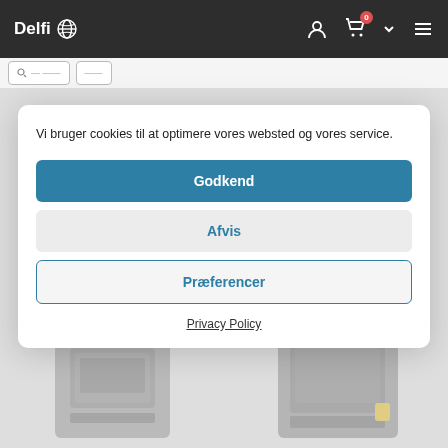Delfi
Vi bruger cookies til at optimere vores websted og vores service.
Godkend
Afvis
Præferencer
Privacy Policy
[Figure (screenshot): Two barcode/label printer devices partially visible at the bottom of the page behind the cookie consent modal]